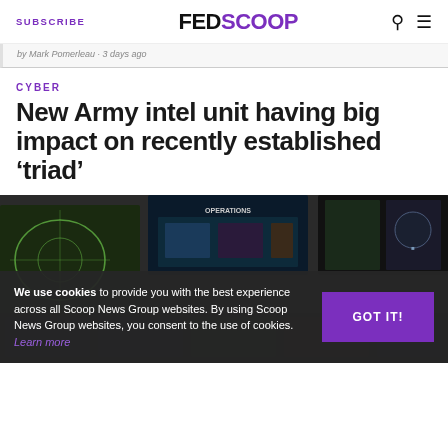SUBSCRIBE | FEDSCOOP
by Mark Pomerleau · 3 days ago
CYBER
New Army intel unit having big impact on recently established 'triad'
[Figure (photo): Military operations center with multiple monitors displaying maps and surveillance data]
We use cookies to provide you with the best experience across all Scoop News Group websites. By using Scoop News Group websites, you consent to the use of cookies. Learn more
GOT IT!